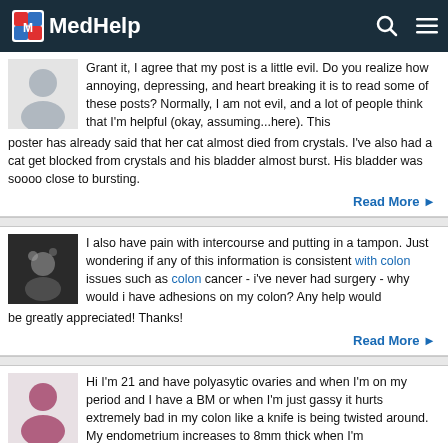MedHelp
[Figure (photo): Generic user avatar (gray silhouette on light background)]
Grant it, I agree that my post is a little evil. Do you realize how annoying, depressing, and heart breaking it is to read some of these posts? Normally, I am not evil, and a lot of people think that I'm helpful (okay, assuming...here). This poster has already said that her cat almost died from crystals. I've also had a cat get blocked from crystals and his bladder almost burst. His bladder was soooo close to bursting.
Read More ▶
[Figure (photo): User avatar showing a small animal or pet image]
I also have pain with intercourse and putting in a tampon. Just wondering if any of this information is consistent with colon issues such as colon cancer - i've never had surgery - why would i have adhesions on my colon? Any help would be greatly appreciated! Thanks!
Read More ▶
[Figure (photo): Generic female user avatar (pink/mauve silhouette)]
Hi I'm 21 and have polyasytic ovaries and when I'm on my period and I have a BM or when I'm just gassy it hurts extremely bad in my colon like a knife is being twisted around. My endometrium increases to 8mm thick when I'm menstrating. Also it is very difficult to put a tampon in I have to push